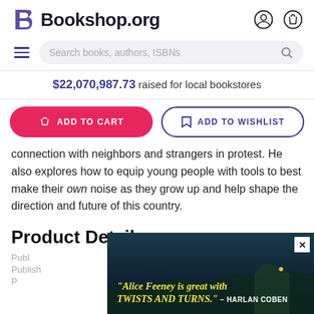Bookshop.org
Search books, authors, ISBNs
$22,070,987.73 raised for local bookstores
ADD TO CART
ADD TO WISHLIST
connection with neighbors and strangers in protest. He also explores how to equip young people with tools to best make their own noise as they grow up and help shape the direction and future of this country.
Product Details
[Figure (screenshot): Advertisement overlay with dark ocean/cliff background image, yellow italic text reading: "Alice Feeney is great with TWISTS AND TURNS." — HARLAN COBEN, with a white X close button]